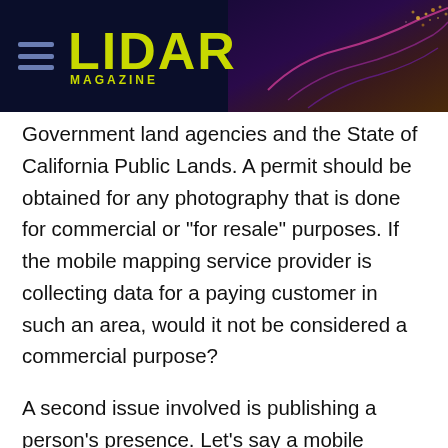LIDAR MAGAZINE
Government land agencies and the State of California Public Lands. A permit should be obtained for any photography that is done for commercial or "for resale" purposes. If the mobile mapping service provider is collecting data for a paying customer in such an area, would it not be considered a commercial purpose?
A second issue involved is publishing a person’s presence. Let’s say a mobile mapping system drives by and captures us in an awkward position or inappropriate gesture. Would we want this information about ourselves plastered all over the Internet? Most likely – no. Simple solution –